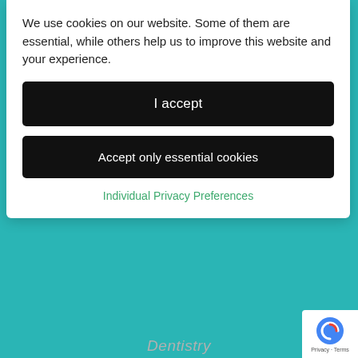We use cookies on our website. Some of them are essential, while others help us to improve this website and your experience.
I accept
Accept only essential cookies
Individual Privacy Preferences
Dentistry
0117 951 3026
Horfield Dental Care
, 525 Gloucester Road, Bristol, BS7 8UG
[Figure (logo): ITI International Team for Implantology logo]
[Figure (logo): Enlighten Research Laboratories logo]
[Figure (logo): BOU (partial) logo]
[Figure (logo): Google reCAPTCHA badge]